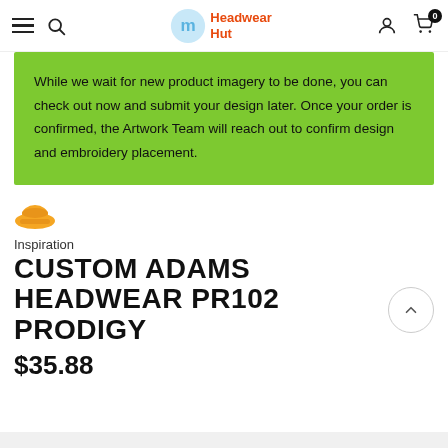Headwear Hut
While we wait for new product imagery to be done, you can check out now and submit your design later. Once your order is confirmed, the Artwork Team will reach out to confirm design and embroidery placement.
Inspiration
CUSTOM ADAMS HEADWEAR PR102 PRODIGY
$35.88